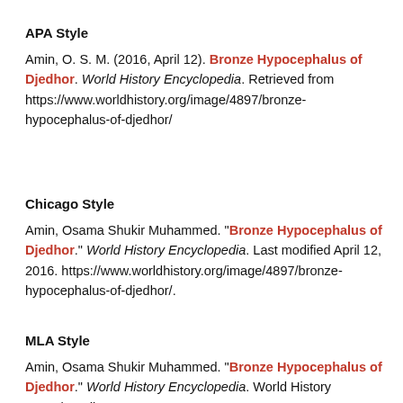APA Style
Amin, O. S. M. (2016, April 12). Bronze Hypocephalus of Djedhor. World History Encyclopedia. Retrieved from https://www.worldhistory.org/image/4897/bronze-hypocephalus-of-djedhor/
Chicago Style
Amin, Osama Shukir Muhammed. "Bronze Hypocephalus of Djedhor." World History Encyclopedia. Last modified April 12, 2016. https://www.worldhistory.org/image/4897/bronze-hypocephalus-of-djedhor/.
MLA Style
Amin, Osama Shukir Muhammed. "Bronze Hypocephalus of Djedhor." World History Encyclopedia. World History Encyclopedia, 12 Apr